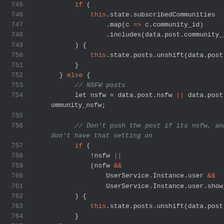[Figure (screenshot): Code editor screenshot showing JavaScript source code lines 745-765 with dark background, line numbers in grey, keywords and 'this' in orange, comments in grey, on a dark gray background.]